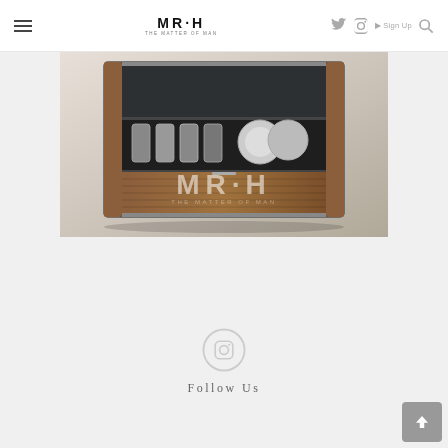MR·H — THE MATTER OF MAN navigation bar with hamburger menu, logo, Twitter icon, Instagram icon, Sign Up, and Search
[Figure (photo): Open luxury travel case/bar set with bottles, plates, and cutlery compartments, photographed on grey background. MR·H logo and tagline overlaid in white at bottom of image.]
Follow Us
[Figure (logo): Instagram icon (camera outline in light grey circle)]
Follow Us